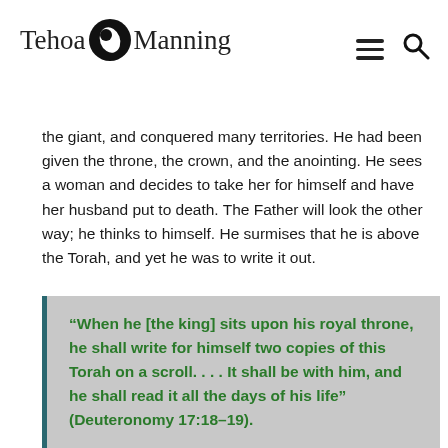Tehoa Manning
the giant, and conquered many territories. He had been given the throne, the crown, and the anointing. He sees a woman and decides to take her for himself and have her husband put to death. The Father will look the other way; he thinks to himself. He surmises that he is above the Torah, and yet he was to write it out.
“When he [the king] sits upon his royal throne, he shall write for himself two copies of this Torah on a scroll. . . . It shall be with him, and he shall read it all the days of his life” (Deuteronomy 17:18–19).